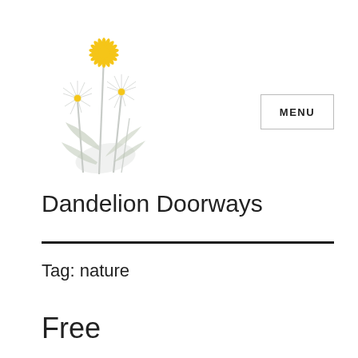[Figure (illustration): Dandelion flowers illustration: one yellow dandelion in full bloom at top, two white dandelion seed heads, with grey-green leaves and stems below]
MENU
Dandelion Doorways
Tag: nature
Free